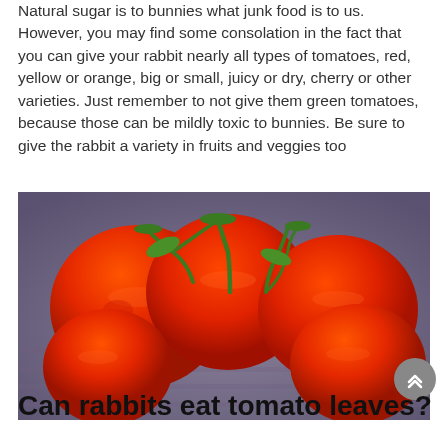Natural sugar is to bunnies what junk food is to us. However, you may find some consolation in the fact that you can give your rabbit nearly all types of tomatoes, red, yellow or orange, big or small, juicy or dry, cherry or other varieties. Just remember to not give them green tomatoes, because those can be mildly toxic to bunnies. Be sure to give the rabbit a variety in fruits and veggies too
[Figure (photo): Close-up photo of several large, bright red tomatoes on the vine with green stems, resting on a wooden surface.]
Can rabbits eat tomato leaves?